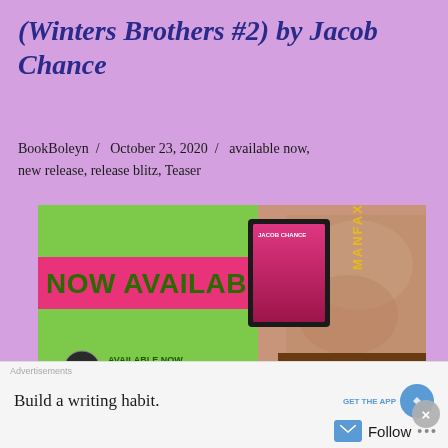(Winters Brothers #2) by Jacob Chance
BookBoleyn  /  October 23, 2020  /  available now, new release, release blitz, Teaser
[Figure (illustration): Book release banner for Manfax by Jacob Chance. Green background with pink/magenta 'NOW AVAILABLE' text bar on left. Right side shows torso of shirtless man with tool belt. Center shows tablet device displaying book cover for Manfax. Bottom left has author logo, 'AVAILABLE NOW' and 'kindleunlimited' text.]
Title: Manfax
Series: Winters Brothers #2
Build a writing habit.
Follow